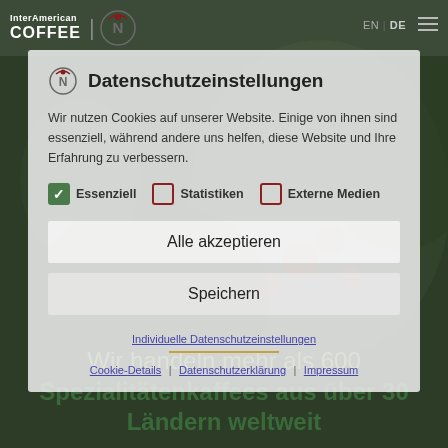[Figure (screenshot): Website screenshot of InterAmerican Coffee showing a cookie consent modal overlay on top of a coffee plant background image]
InterAmerican COFFEE | [logo] EN | DE [menu]
Datenschutzeinstellungen
Wir nutzen Cookies auf unserer Website. Einige von ihnen sind essenziell, während andere uns helfen, diese Website und Ihre Erfahrung zu verbessern.
✓ Essenziell
☐ Statistiken
☐ Externe Medien
Alle akzeptieren
Speichern
Individuelle Datenschutzeinstellungen
Cookie-Details | Datenschutzerklärung | Impressum
Wir handeln mehr als 600 Spezialitätenkaffees aus über 30 Ländern weltweit